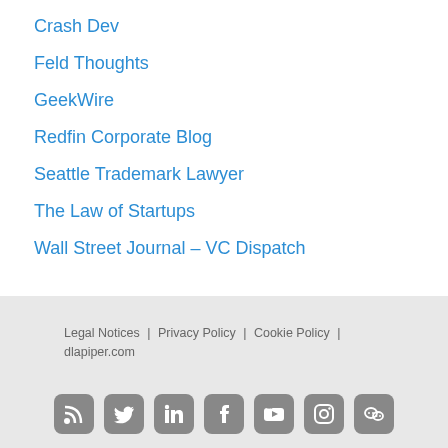Crash Dev
Feld Thoughts
GeekWire
Redfin Corporate Blog
Seattle Trademark Lawyer
The Law of Startups
Wall Street Journal – VC Dispatch
Legal Notices | Privacy Policy | Cookie Policy | dlapiper.com